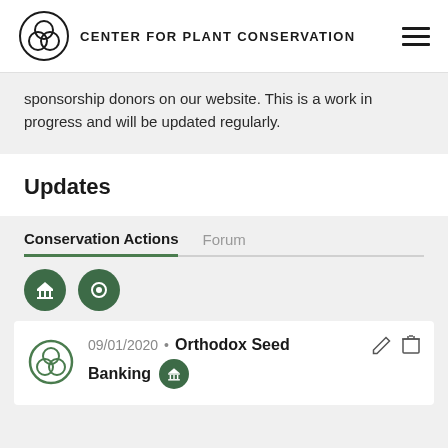CENTER FOR PLANT CONSERVATION
sponsorship donors on our website. This is a work in progress and will be updated regularly.
Updates
Conservation Actions   Forum
09/01/2020 • Orthodox Seed Banking